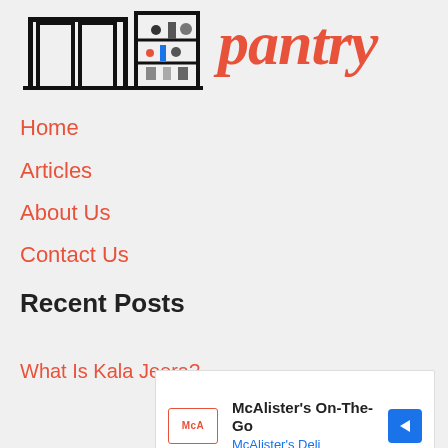[Figure (logo): Building/pantry shelves icon logo in black line art, followed by 'pantry' written in orange cursive script]
Home
Articles
About Us
Contact Us
Recent Posts
What Is Kala Jeera?
[Figure (screenshot): McAlister's On-The-Go advertisement banner with McAlister's Deli text and navigation arrow icon]